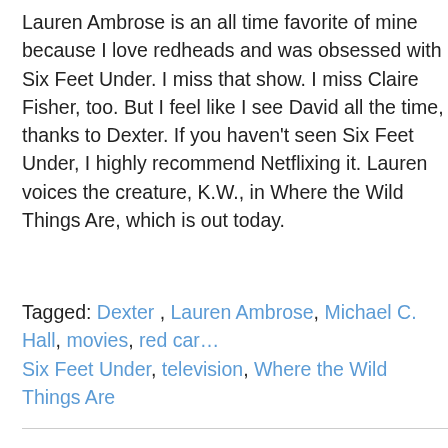Lauren Ambrose is an all time favorite of mine because I love redheads and was obsessed with Six Feet Under. I miss that show. I miss Claire Fisher, too. But I feel like I see David all the time, thanks to Dexter. If you haven't seen Six Feet Under, I highly recommend Netflixing it. Lauren voices the creature, K.W., in Where the Wild Things Are, which is out today.
Tagged: Dexter, Lauren Ambrose, Michael C. Hall, movies, red carpet, Six Feet Under, television, Where the Wild Things Are